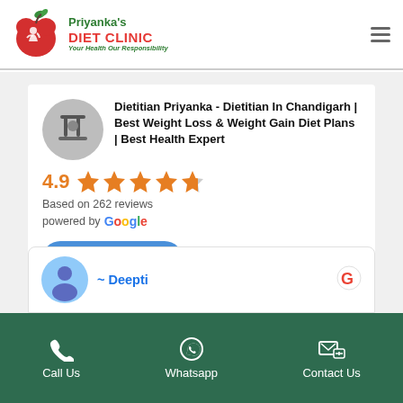[Figure (logo): Priyanka's Diet Clinic logo with red apple and green leaves, silhouette of person inside apple]
Priyanka's DIET CLINIC Your Health Our Responsibility
Dietitian Priyanka - Dietitian In Chandigarh | Best Weight Loss & Weight Gain Diet Plans | Best Health Expert
4.9 ★★★★½ Based on 262 reviews powered by Google
review us on Google
~ Deepti
Call Us   Whatsapp   Contact Us